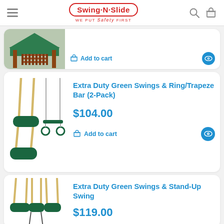Swing-N-Slide — we put Safety first
[Figure (screenshot): Partial product card showing a playground set with green roof and wooden structure. Add to cart button visible with eye icon.]
[Figure (photo): Extra Duty Green Swings & Ring/Trapeze Bar (2-Pack) product image showing two green belt swings and a trapeze bar with rings]
Extra Duty Green Swings & Ring/Trapeze Bar (2-Pack)
$104.00
Add to cart
[Figure (photo): Extra Duty Green Swings & Stand-Up Swing product image showing green belt swings and a stand-up swing]
Extra Duty Green Swings & Stand-Up Swing
$119.00